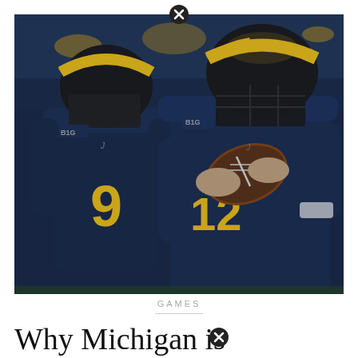[Figure (photo): Two Michigan Wolverines football players in navy and maize uniforms. Player on left wears jersey number 9, player on right wears jersey number 12 and is holding a football in a passing stance. Both wear yellow Michigan helmets with winged design.]
GAMES
Why Michigan is